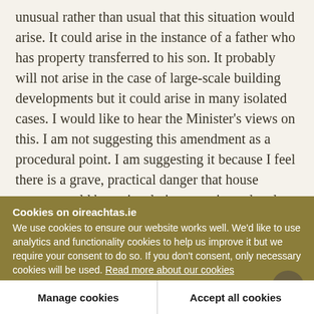unusual rather than usual that this situation would arise. It could arise in the instance of a father who has property transferred to his son. It probably will not arise in the case of large-scale building developments but it could arise in many isolated cases. I would like to hear the Minister's views on this. I am not suggesting this amendment as a procedural point. I am suggesting it because I feel there is a grave, practical danger that house owners could be seriously inconvenienced and put to very
Cookies on oireachtas.ie
We use cookies to ensure our website works well. We'd like to use analytics and functionality cookies to help us improve it but we require your consent to do so. If you don't consent, only necessary cookies will be used. Read more about our cookies
Manage cookies
Accept all cookies